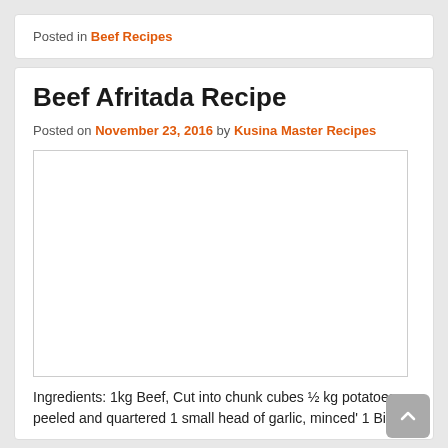Posted in Beef Recipes
Beef Afritada Recipe
Posted on November 23, 2016 by Kusina Master Recipes
[Figure (photo): Blank/white image placeholder for Beef Afritada Recipe photo]
Ingredients: 1kg Beef, Cut into chunk cubes ½ kg potatoes, peeled and quartered 1 small head of garlic, minced' 1 Big